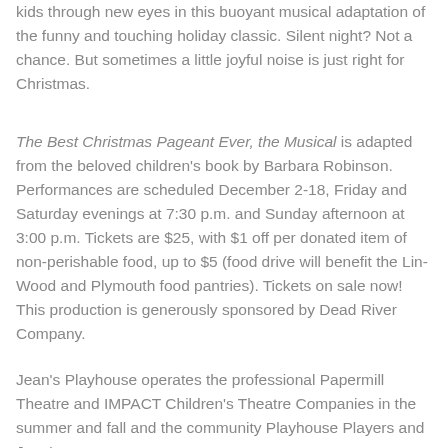kids through new eyes in this buoyant musical adaptation of the funny and touching holiday classic. Silent night? Not a chance. But sometimes a little joyful noise is just right for Christmas.
The Best Christmas Pageant Ever, the Musical is adapted from the beloved children's book by Barbara Robinson. Performances are scheduled December 2-18, Friday and Saturday evenings at 7:30 p.m. and Sunday afternoon at 3:00 p.m. Tickets are $25, with $1 off per donated item of non-perishable food, up to $5 (food drive will benefit the Lin-Wood and Plymouth food pantries). Tickets on sale now! This production is generously sponsored by Dead River Company.
Jean's Playhouse operates the professional Papermill Theatre and IMPACT Children's Theatre Companies in the summer and fall and the community Playhouse Players and Jean's